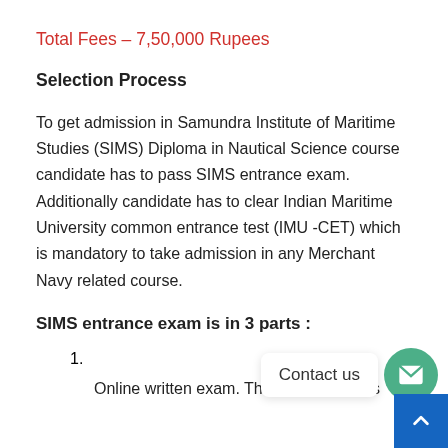Total Fees – 7,50,000 Rupees
Selection Process
To get admission in Samundra Institute of Maritime Studies (SIMS) Diploma in Nautical Science course candidate has to pass SIMS entrance exam. Additionally candidate has to clear Indian Maritime University common entrance test (IMU -CET) which is mandatory to take admission in any Merchant Navy related course.
SIMS entrance exam is in 3 parts :
1.
Online written exam. This exam consists